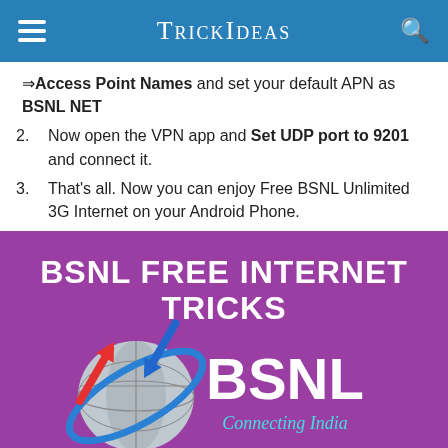TrickIdeas
⇒Access Point Names and set your default APN as BSNL NET
2. Now open the VPN app and Set UDP port to 9201 and connect it.
3. That's all. Now you can enjoy Free BSNL Unlimited 3G Internet on your Android Phone.
[Figure (illustration): Purple promotional banner for BSNL Free Internet Tricks, with globe and arrows logo on left and large white BSNL text with 'Connecting India' tagline on right]